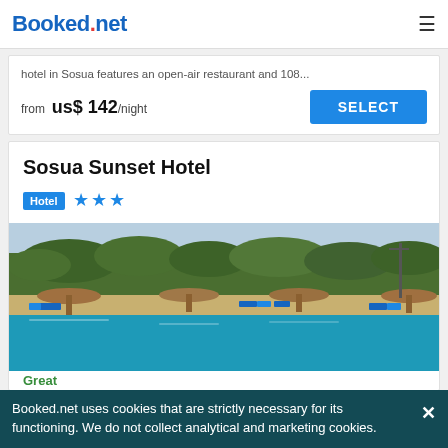Booked.net
hotel in Sosua features an open-air restaurant and 108...
from  us$ 142/night
Sosua Sunset Hotel
Hotel ★★★
[Figure (photo): Aerial view of Sosua Sunset Hotel outdoor pool with thatched-roof palapas, sun loungers, tropical trees and blue sky in background]
Booked.net uses cookies that are strictly necessary for its functioning. We do not collect analytical and marketing cookies.
Great